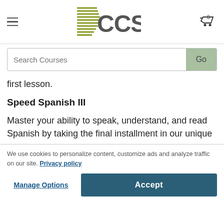[Figure (logo): CCS logo with olive/green diagonal lines and grey CCS text]
first lesson.
Speed Spanish III
Master your ability to speak, understand, and read Spanish by taking the final installment in our unique
We use cookies to personalize content, customize ads and analyze traffic on our site. Privacy policy
Manage Options
Accept